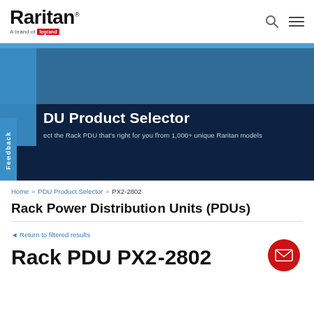[Figure (logo): Raritan logo with 'A brand of Legrand' tagline]
[Figure (screenshot): Navigation hero banner with 'PDU Product Selector' heading and subtitle 'Select the Rack PDU that's right for you from 1,000+ unique Raritan models' on dark navy background with blue accent]
Home » PDU Product Selector » PX2-2802
Rack Power Distribution Units (PDUs)
◄ Return to filtered results
Rack PDU PX2-2802